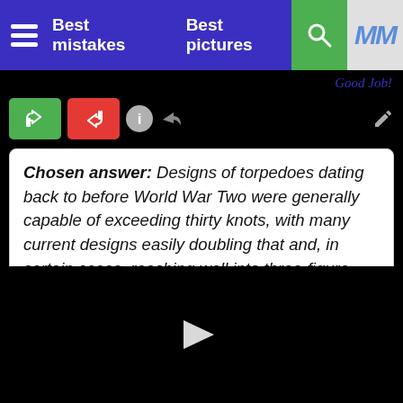Best mistakes   Best pictures
Good Job!
Chosen answer: Designs of torpedoes dating back to before World War Two were generally capable of exceeding thirty knots, with many current designs easily doubling that and, in certain cases, reaching well into three-figure territory. The Juliet-class torpedo appears to be fictional, but, given the performance figures for real life designs, a speed of thirty knots
[Figure (screenshot): Black video player area with a white play button triangle in the center]